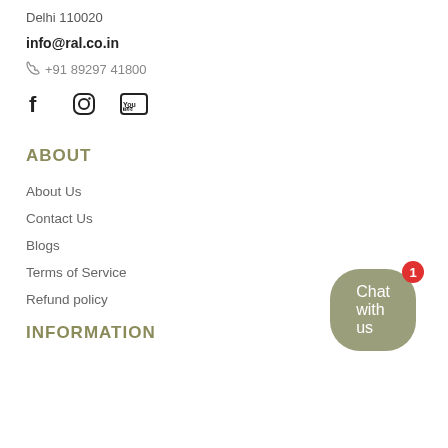Delhi 110020
info@ral.co.in
☎ +91 89297 41800
[Figure (illustration): Social media icons: Facebook (f), Instagram (circle camera), YouTube (You Tube box)]
ABOUT
About Us
Contact Us
Blogs
Terms of Service
Refund policy
[Figure (other): Chat with us button (olive/sage green pill-shaped button) with red notification badge showing '1']
INFORMATION